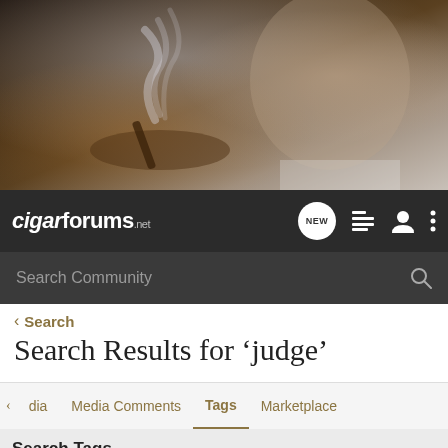[Figure (photo): Close-up photo of a man smoking a cigar, with smoke visible, dark moody background]
cigarforums.net — NEW — navigation icons — Search Community
< Search
Search Results for 'judge'
< dia   Media Comments   Tags   Marketplace
Search Tags
× judge   Search